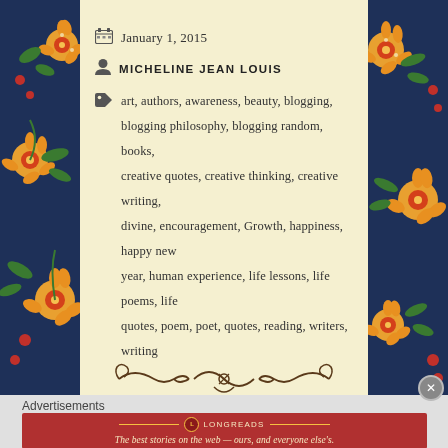January 1, 2015
MICHELINE JEAN LOUIS
art, authors, awareness, beauty, blogging, blogging philosophy, blogging random, books, creative quotes, creative thinking, creative writing, divine, encouragement, Growth, happiness, happy new year, human experience, life lessons, life poems, life quotes, poem, poet, quotes, reading, writers, writing
[Figure (illustration): Decorative ornament divider with scrollwork]
Advertisements
[Figure (logo): Longreads advertisement banner: The best stories on the web — ours, and everyone else's.]